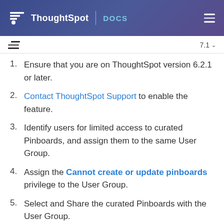ThoughtSpot | DOCS
1. Ensure that you are on ThoughtSpot version 6.2.1 or later.
2. Contact ThoughtSpot Support to enable the feature.
3. Identify users for limited access to curated Pinboards, and assign them to the same User Group.
4. Assign the Cannot create or update pinboards privilege to the User Group.
5. Select and Share the curated Pinboards with the User Group.